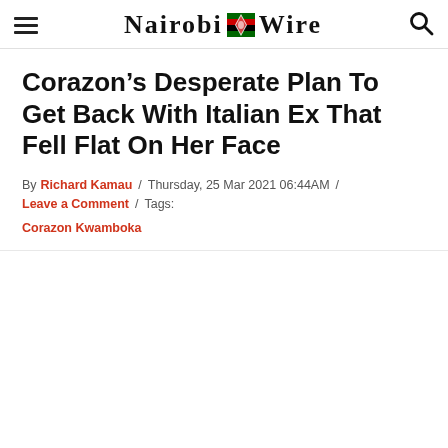Nairobi Wire
Corazon's Desperate Plan To Get Back With Italian Ex That Fell Flat On Her Face
By Richard Kamau / Thursday, 25 Mar 2021 06:44AM / Leave a Comment / Tags: Corazon Kwamboka